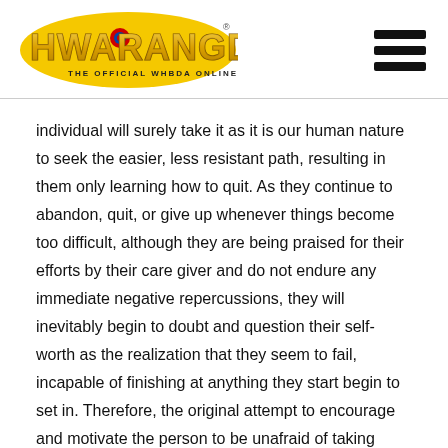[Figure (logo): Hwarangdo logo - The Official WHBDA Online Community]
individual will surely take it as it is our human nature to seek the easier, less resistant path, resulting in them only learning how to quit. As they continue to abandon, quit, or give up whenever things become too difficult, although they are being praised for their efforts by their care giver and do not endure any immediate negative repercussions, they will inevitably begin to doubt and question their self-worth as the realization that they seem to fail, incapable of finishing at anything they start begin to set in. Therefore, the original attempt to encourage and motivate the person to be unafraid of taking action and be assertive by telling them to try